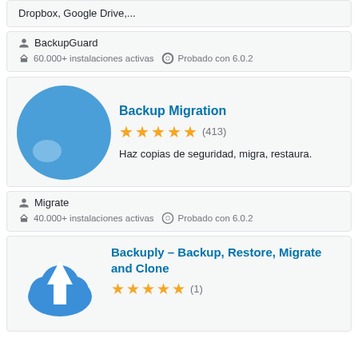Dropbox, Google Drive,...
BackupGuard
60.000+ instalaciones activas  Probado con 6.0.2
Backup Migration
★★★★★ (413)
Haz copias de seguridad, migra, restaura.
Migrate
40.000+ instalaciones activas  Probado con 6.0.2
Backuply – Backup, Restore, Migrate and Clone
★★★★★ (1)